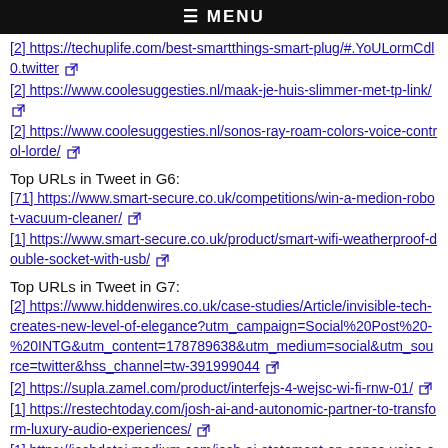≡ MENU
[2] https://techuplife.com/best-smartthings-smart-plug/#.YoULormCdl0.twitter
[2] https://www.coolesuggesties.nl/maak-je-huis-slimmer-met-tp-link/
[2] https://www.coolesuggesties.nl/sonos-ray-roam-colors-voice-control-lorde/
Top URLs in Tweet in G6:
[71] https://www.smart-secure.co.uk/competitions/win-a-medion-robot-vacuum-cleaner/
[1] https://www.smart-secure.co.uk/product/smart-wifi-weatherproof-double-socket-with-usb/
Top URLs in Tweet in G7:
[2] https://www.hiddenwires.co.uk/case-studies/Article/invisible-tech-creates-new-level-of-elegance?utm_campaign=Social%20Post%20-%20INTG&utm_content=178789638&utm_medium=social&utm_source=twitter&hss_channel=tw-391999044
[2] https://supla.zamel.com/product/interfejs-4-wejsc-wi-fi-rnw-01/
[1] https://restechtoday.com/josh-ai-and-autonomic-partner-to-transform-luxury-audio-experiences/
[1] https://joshdotai.medium.com/josh-ai-statement-on-sonos-voice-control-4f10de5df3e9